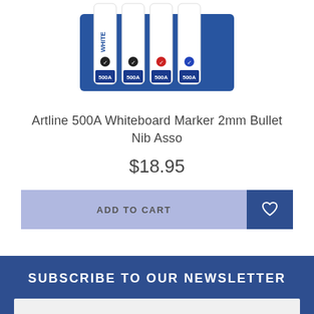[Figure (photo): Artline 500A whiteboard markers in assorted colors arranged in a blue tray, showing tops of cylindrical markers with labels]
Artline 500A Whiteboard Marker 2mm Bullet Nib Asso
$18.95
ADD TO CART
SUBSCRIBE TO OUR NEWSLETTER
Email Address
I have read and agree to Terms & Conditions and Privacy Policy.